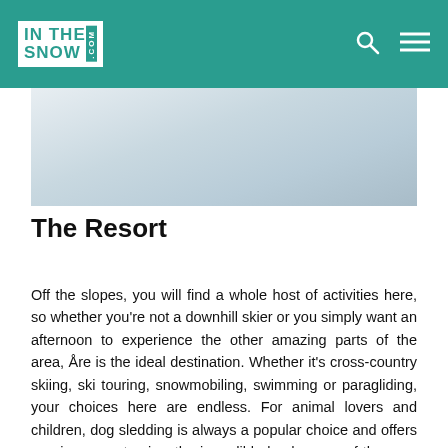INTHESNOW.COM
[Figure (photo): Close-up photo of white snow surface with subtle texture and shadows]
The Resort
Off the slopes, you will find a whole host of activities here, so whether you're not a downhill skier or you simply want an afternoon to experience the other amazing parts of the area, Åre is the ideal destination. Whether it's cross-country skiing, ski touring, snowmobiling, swimming or paragliding, your choices here are endless. For animal lovers and children, dog sledding is always a popular choice and offers a unique way to view the incredible landscapes of the area with the added bonus of being able to pet some furry friends! Adrenaline hunters can try ice diving or fat